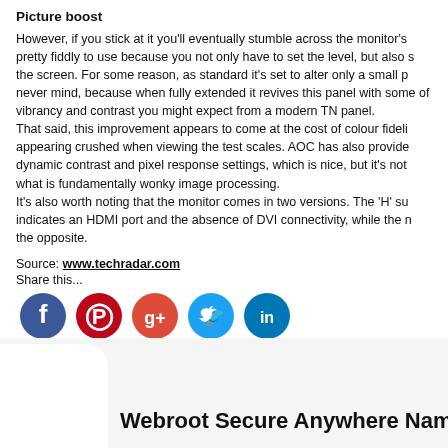Picture boost
However, if you stick at it you'll eventually stumble across the monitor's pretty fiddly to use because you not only have to set the level, but also s the screen. For some reason, as standard it's set to alter only a small p never mind, because when fully extended it revives this panel with some of vibrancy and contrast you might expect from a modern TN panel. That said, this improvement appears to come at the cost of colour fideli appearing crushed when viewing the test scales. AOC has also provide dynamic contrast and pixel response settings, which is nice, but it's not what is fundamentally wonky image processing. It's also worth noting that the monitor comes in two versions. The 'H' su indicates an HDMI port and the absence of DVI connectivity, while the n the opposite.
Source: www.techradar.com
Share this...
[Figure (infographic): Row of 5 social media icon circles: Facebook (dark blue), Pinterest (red), Google+ (orange-red), Twitter (light blue), LinkedIn (dark blue)]
Webroot Secure Anywhere Named B